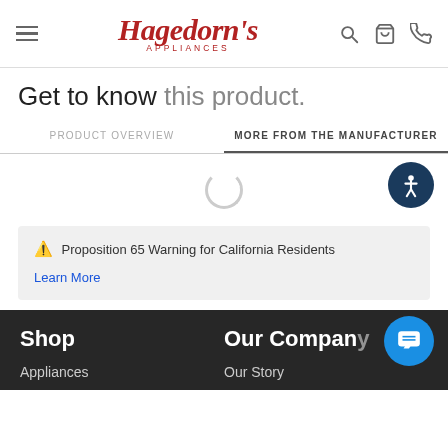Hagedorn's Appliances — navigation header with hamburger menu, logo, search, cart, and phone icons
Get to know this product.
PRODUCT OVERVIEW | MORE FROM THE MANUFACTURER
[Figure (other): Loading spinner circle and accessibility button (dark blue circle with wheelchair/person icon)]
⚠ Proposition 65 Warning for California Residents
Learn More
Shop
Appliances
Our Company
Our Story